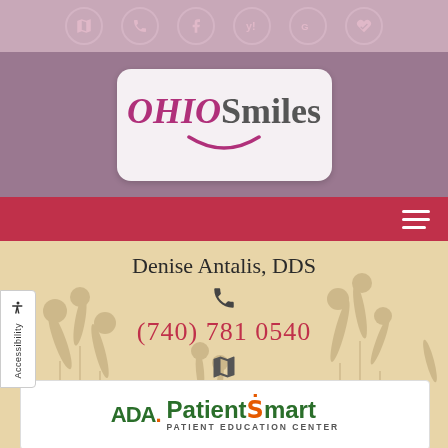[Figure (screenshot): Top navigation icon bar with map, phone, Facebook, Yelp, Google, and heart icons on mauve background]
[Figure (logo): Ohio Smiles logo with italic OHIO in crimson and Smiles in gray, with smile arc, on rounded white box over purple background]
[Figure (screenshot): Crimson navigation bar with hamburger menu icon on right]
Denise Antalis, DDS
(740) 781  0540
1500 Deerpath Drive Cambridge, OH 43725
[Figure (logo): ADA PatientSmart Patient Education Center logo with green and orange text]